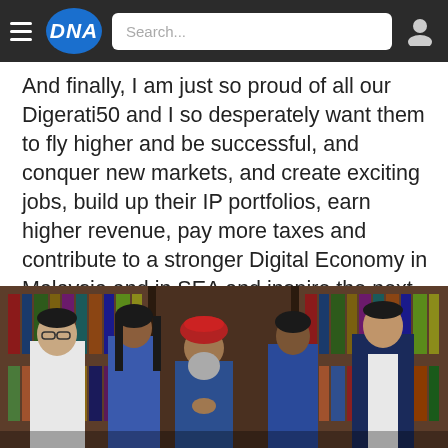DNA — Search bar navigation
And finally, I am just so proud of all our Digerati50 and I so desperately want them to fly higher and be successful, and conquer new markets, and create exciting jobs, build up their IP portfolios, earn higher revenue, pay more taxes and contribute to a stronger Digital Economy in Malaysia and in SEA and inspire the next batch of Digerati50 to come.
[Figure (photo): Group photo of five people standing in front of a bookshelf: a man with glasses in white shirt on left, a woman in blue dress, a man in blue outfit with red turban and grey beard seated in center, a woman in blue sleeveless dress, and a man in navy blue suit on right.]